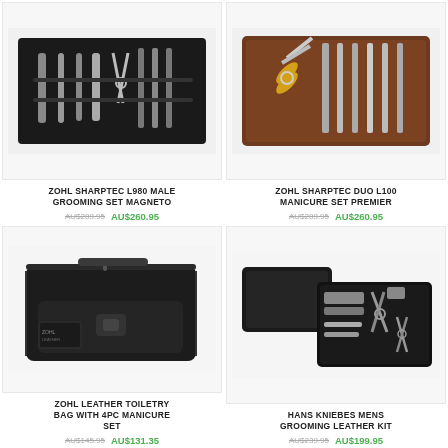[Figure (photo): ZOHL Sharptec L980 Male Grooming Set Magneto product photo - black grooming tools in dark case]
ZOHL SHARPTEC L980 MALE GROOMING SET MAGNETO
AU$289.95  AU$260.95
[Figure (photo): ZOHL Sharptec Duo L100 Manicure Set Premier product photo - scissors and tools in brown leather case]
ZOHL SHARPTEC DUO L100 MANICURE SET PREMIER
AU$289.95  AU$260.95
[Figure (photo): ZOHL Leather Toiletry Bag with 4pc Manicure Set product photo - black leather bag with ZOHL logo tag]
ZOHL LEATHER TOILETRY BAG WITH 4PC MANICURE SET
AU$145.95  AU$131.35
[Figure (photo): Hans Kniebes Mens Grooming Leather Kit product photo - black leather case with manicure tools including scissors]
HANS KNIEBES MENS GROOMING LEATHER KIT
AU$239.95  AU$199.95